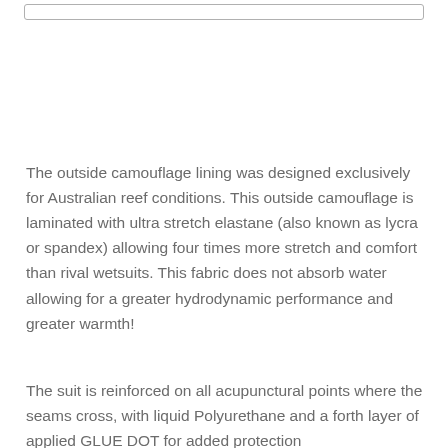The outside camouflage lining was designed exclusively for Australian reef conditions. This outside camouflage is laminated with ultra stretch elastane (also known as lycra or spandex) allowing four times more stretch and comfort than rival wetsuits. This fabric does not absorb water allowing for a greater hydrodynamic performance and greater warmth!
The suit is reinforced on all acupunctural points where the seams cross, with liquid Polyurethane and a forth layer of applied GLUE DOT for added protection